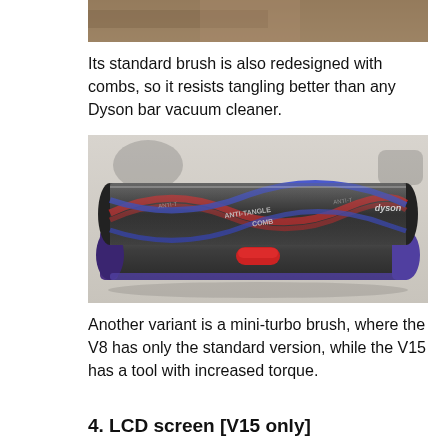[Figure (photo): Partial top edge of a photo visible at the very top of the page, showing a blurred background scene]
Its standard brush is also redesigned with combs, so it resists tangling better than any Dyson bar vacuum cleaner.
[Figure (photo): Close-up photograph of a Dyson vacuum cleaner brush head (floor tool) lying on a white surface. The brush has a transparent plastic cover revealing a dark cylindrical brush roll with red and blue spiraling bristle strips. Text on the brush reads 'ANTI-TANGLE COMB'. A red release button is visible. The Dyson logo appears on the right end.]
Another variant is a mini-turbo brush, where the V8 has only the standard version, while the V15 has a tool with increased torque.
4. LCD screen [V15 only]